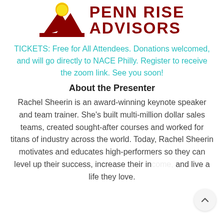[Figure (logo): Penn Rise Advisors logo: mountain silhouette with sun, red and yellow colors, beside bold dark red text reading PENN RISE ADVISORS]
TICKETS: Free for All Attendees. Donations welcomed, and will go directly to NACE Philly. Register to receive the zoom link. See you soon!
About the Presenter
Rachel Sheerin is an award-winning keynote speaker and team trainer. She’s built multi-million dollar sales teams, created sought-after courses and worked for titans of industry across the world. Today, Rachel Sheerin motivates and educates high-performers so they can level up their success, increase their income, and live a life they love.